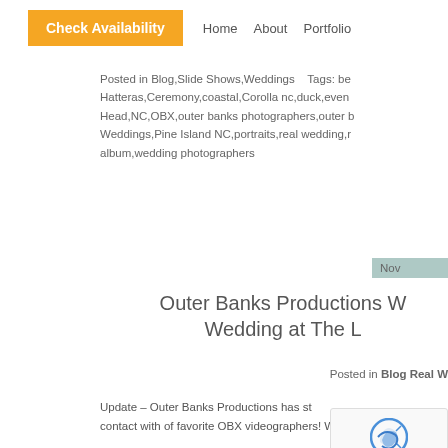Check Availability  Home  About  Portfolio
Posted in Blog,Slide Shows,Weddings   Tags: be Hatteras,Ceremony,coastal,Corolla nc,duck,even Head,NC,OBX,outer banks photographers,outer b Weddings,Pine Island NC,portraits,real wedding,r album,wedding photographers
Nov
Outer Banks Productions W Wedding at The L
Posted in Blog Real W
Update – Outer Banks Productions has st contact with of favorite OBX videographers! We des